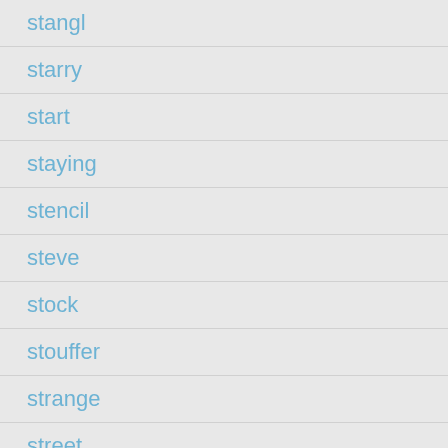stangl
starry
start
staying
stencil
steve
stock
stouffer
strange
street
striking
studded
stuhrling